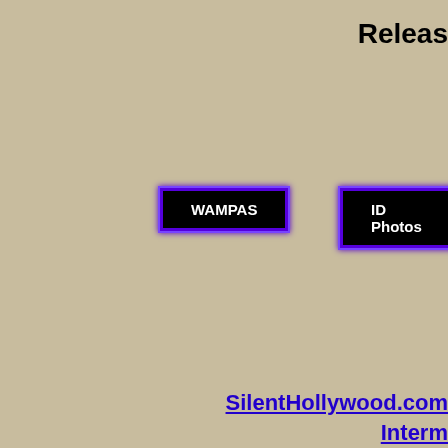Releas
WAMPAS
ID Photos
Still
SilentHollywood.com
Intern
A
Turn
Amer